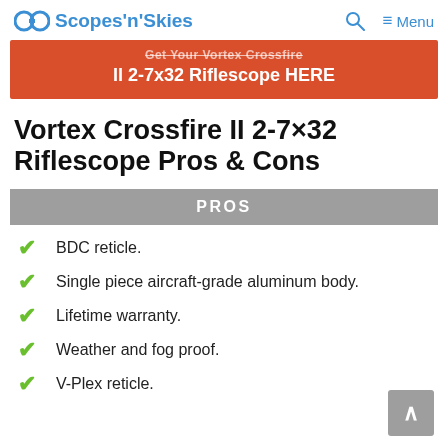Scopes'n'Skies
[Figure (other): Red CTA banner: Get Your Vortex Crossfire II 2-7x32 Riflescope HERE]
Vortex Crossfire II 2-7×32 Riflescope Pros & Cons
PROS
BDC reticle.
Single piece aircraft-grade aluminum body.
Lifetime warranty.
Weather and fog proof.
V-Plex reticle.